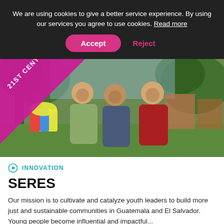We are using cookies to give a better service experience. By using our services you agree to use cookies. Read more
Accept
Reject
[Figure (photo): Three young men smiling and posing outdoors in a park with trees and a bounce house in the background. A diagonal magenta banner in the top-left corner reads '21ST CENTURY SKILLS'.]
INNOVATION
SERES
Our mission is to cultivate and catalyze youth leaders to build more just and sustainable communities in Guatemala and El Salvador. Young people become influential and impactful...